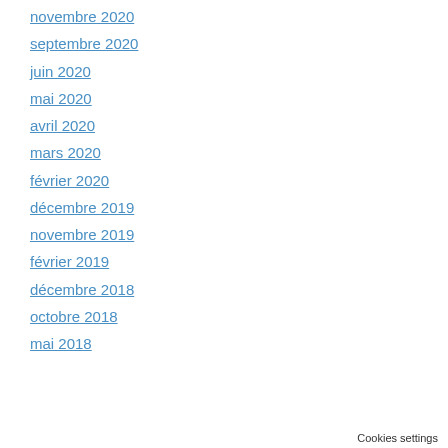novembre 2020
septembre 2020
juin 2020
mai 2020
avril 2020
mars 2020
février 2020
décembre 2019
novembre 2019
février 2019
décembre 2018
octobre 2018
mai 2018
Cookies settings